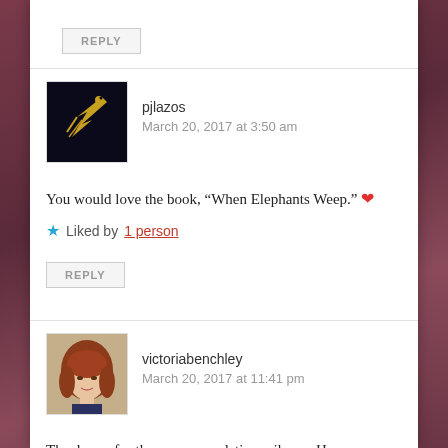REPLY
pjlazos
March 20, 2017 at 3:50 am
You would love the book, “When Elephants Weep.” ❤
Liked by 1 person
REPLY
victoriabenchley
March 20, 2017 at 11:41 pm
Thank you for the recommendation, pjlazos. Have a wonderful day!